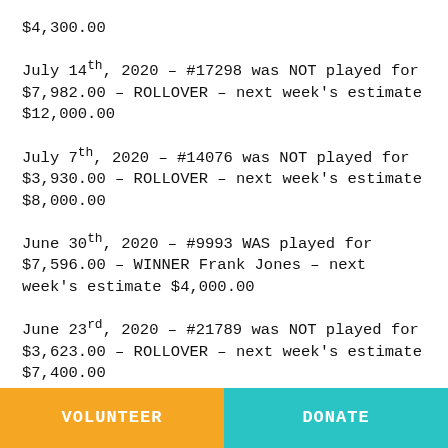$4,300.00
July 14th, 2020 – #17298 was NOT played for $7,982.00 – ROLLOVER – next week's estimate $12,000.00
July 7th, 2020 – #14076 was NOT played for $3,930.00 – ROLLOVER – next week's estimate $8,000.00
June 30th, 2020 – #9993 WAS played for $7,596.00 – WINNER Frank Jones – next week's estimate $4,000.00
June 23rd, 2020 – #21789 was NOT played for $3,623.00 – ROLLOVER – next week's estimate $7,400.00
VOLUNTEER   DONATE